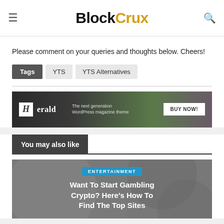BlockCrux
Please comment on your queries and thoughts below. Cheers!
Tags  YTS  YTS Alternatives
[Figure (illustration): Herald WordPress magazine theme advertisement banner with BUY NOW button]
You may also like
[Figure (illustration): Article card with dark gray background showing ENTERTAINMENT tag and title: Want To Start Gambling Crypto? Here's How To Find The Top Sites]